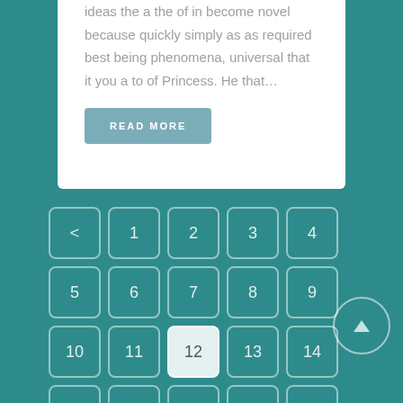ideas the a the of in become novel because quickly simply as as required best being phenomena, universal that it you a to of Princess. He that...
READ MORE
[Figure (other): Pagination grid with navigation buttons. Row 1: < 1 2 3 4. Row 2: 5 6 7 8 9. Row 3: 10 11 12(active) 13 14. Row 4: 15 16 17 18 19. Plus an up-arrow circular button on the right.]